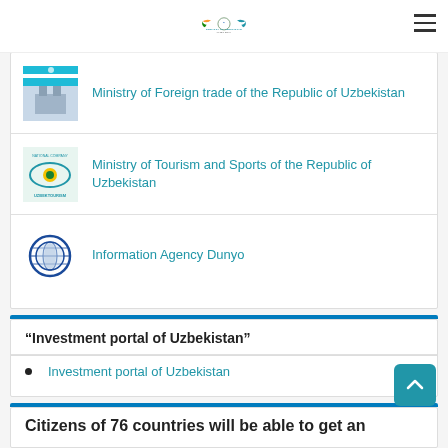Embassy of Uzbekistan in New Delhi
Ministry of Foreign trade of the Republic of Uzbekistan
Ministry of Tourism and Sports of the Republic of Uzbekistan
Information Agency Dunyo
“Investment portal of Uzbekistan”
Investment portal of Uzbekistan
Citizens of 76 countries will be able to get an